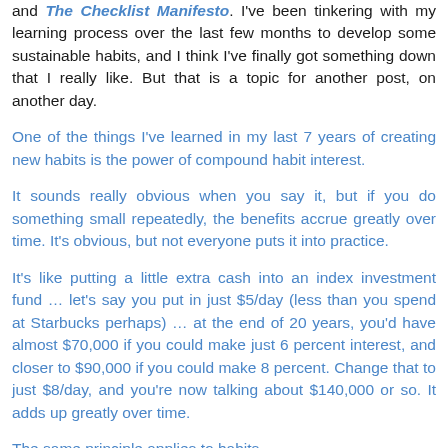and The Checklist Manifesto. I've been tinkering with my learning process over the last few months to develop some sustainable habits, and I think I've finally got something down that I really like. But that is a topic for another post, on another day.
One of the things I've learned in my last 7 years of creating new habits is the power of compound habit interest.
It sounds really obvious when you say it, but if you do something small repeatedly, the benefits accrue greatly over time. It's obvious, but not everyone puts it into practice.
It's like putting a little extra cash into an index investment fund … let's say you put in just $5/day (less than you spend at Starbucks perhaps) … at the end of 20 years, you'd have almost $70,000 if you could make just 6 percent interest, and closer to $90,000 if you could make 8 percent. Change that to just $8/day, and you're now talking about $140,000 or so. It adds up greatly over time.
The same principle applies to habits.